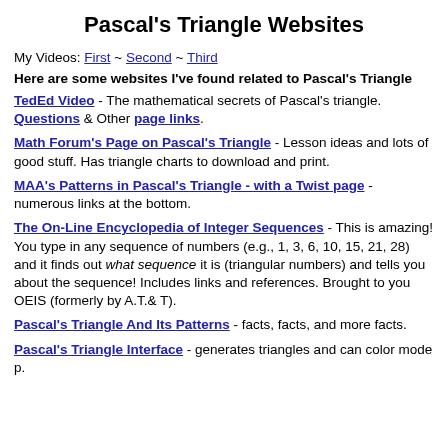Pascal's Triangle Websites
My Videos: First ~ Second ~ Third
Here are some websites I've found related to Pascal's Triangle
TedEd Video - The mathematical secrets of Pascal's triangle. Questions & Other page links.
Math Forum's Page on Pascal's Triangle - Lesson ideas and lots of good stuff. Has triangle charts to download and print.
MAA's Patterns in Pascal's Triangle - with a Twist page - numerous links at the bottom.
The On-Line Encyclopedia of Integer Sequences - This is amazing! You type in any sequence of numbers (e.g., 1, 3, 6, 10, 15, 21, 28) and it finds out what sequence it is (triangular numbers) and tells you about the sequence! Includes links and references. Brought to you OEIS (formerly by A.T.& T).
Pascal's Triangle And Its Patterns - facts, facts, and more facts.
Pascal's Triangle Interface - generates triangles and can color mode p.